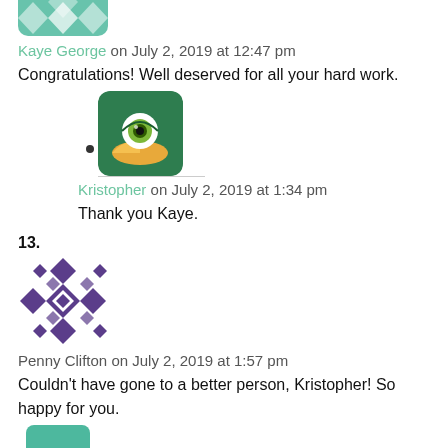[Figure (illustration): Partial user avatar icon at top (decorative diamond/cross pattern in green and white, partially cut off at top)]
Kaye George on July 2, 2019 at 12:47 pm
Congratulations! Well deserved for all your hard work.
[Figure (illustration): User avatar for Kristopher: green rounded square icon with an eyeball reading a book]
Kristopher on July 2, 2019 at 1:34 pm
Thank you Kaye.
13.
[Figure (illustration): User avatar for Penny Clifton: purple and white geometric quilt-like pattern]
Penny Clifton on July 2, 2019 at 1:57 pm
Couldn't have gone to a better person, Kristopher! So happy for you.
[Figure (illustration): Partial user avatar at bottom (green rounded square, partially cut off)]